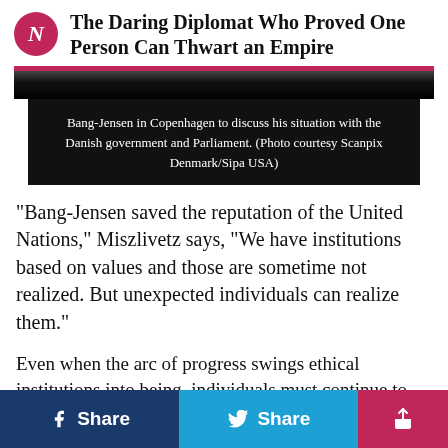The Daring Diplomat Who Proved One Person Can Thwart an Empire
[Figure (photo): Dark/black photo area with caption overlay. Bang-Jensen in Copenhagen to discuss his situation with the Danish government and Parliament. (Photo courtesy Scanpix Denmark/Sipa USA)]
Bang-Jensen in Copenhagen to discuss his situation with the Danish government and Parliament. (Photo courtesy Scanpix Denmark/Sipa USA)
“Bang-Jensen saved the reputation of the United Nations,” Miszlivetz says, “We have institutions based on values and those are sometime not realized. But unexpected individuals can realize them.”
Even when the arc of progress swings ethical institutions into being, individuals must continue to carry those ethics forward in their individual actions, particularly when those institutions falter.
f Share  🐦 Share  [share icon]